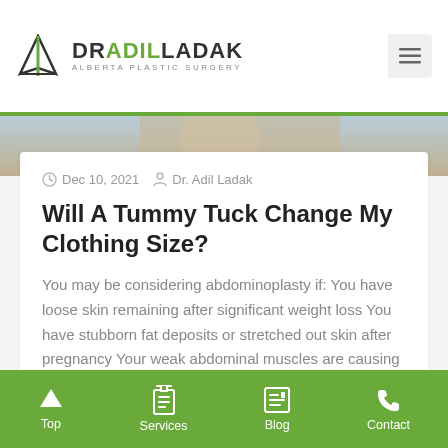DR ADIL LADAK — ALBERTA PLASTIC SURGERY
[Figure (photo): Partial photo strip at top of blog card]
Dec 10, 2021   Dr. Adil Ladak
Will A Tummy Tuck Change My Clothing Size?
You may be considering abdominoplasty if: You have loose skin remaining after significant weight loss You have stubborn fat deposits or stretched out skin after pregnancy Your weak abdominal muscles are causing back pain You have stretch. . .
[Figure (photo): Partial photo visible at bottom before footer]
Top   Services   Blog   Contact